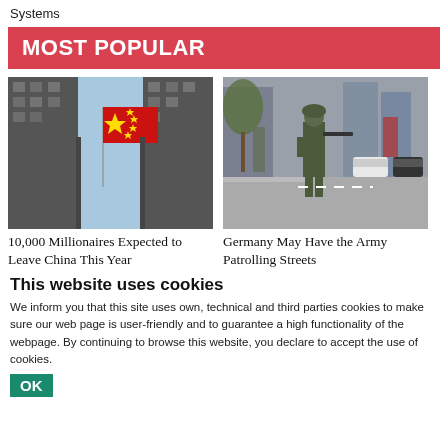Systems
MOST POPULAR
[Figure (photo): Chinese national flag waving between tall skyscrapers viewed from below, with blue sky background]
10,000 Millionaires Expected to Leave China This Year
[Figure (photo): Armed soldier in military camouflage patrolling a wet urban street with parked cars]
Germany May Have the Army Patrolling Streets
This website uses cookies
We inform you that this site uses own, technical and third parties cookies to make sure our web page is user-friendly and to guarantee a high functionality of the webpage. By continuing to browse this website, you declare to accept the use of cookies.
OK